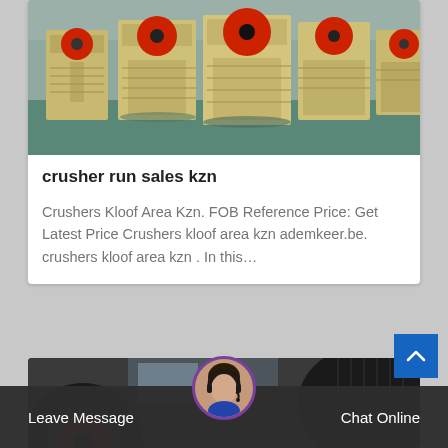[Figure (photo): Industrial jaw crushers lined up in a factory/warehouse, yellow-beige colored machines with red and black components, on a green-grey floor]
crusher run sales kzn
Crushers Kloof Area Kzn. FOB Reference Price: Get Latest Price Crushers kloof area kzn ademkeer.be. crushers kloof area kzn . In this…
[Figure (photo): Close-up of industrial machinery with large black and red wheel/pulley components in a factory setting]
Leave Message
Chat Online